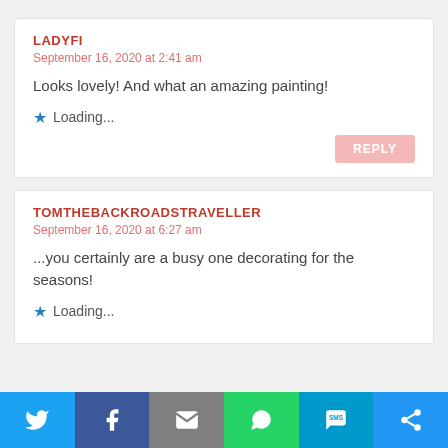LADYFI
September 16, 2020 at 2:41 am
Looks lovely! And what an amazing painting!
Loading...
TOMTHEBACKROADSTRAVELLER
September 16, 2020 at 6:27 am
...you certainly are a busy one decorating for the seasons!
Loading...